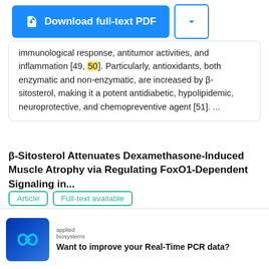[Figure (screenshot): Download full-text PDF button (blue) with dropdown arrow button]
immunological response, antitumor activities, and inflammation [49, 50]. Particularly, antioxidants, both enzymatic and non-enzymatic, are increased by β-sitosterol, making it a potent antidiabetic, hypolipidemic, neuroprotective, and chemopreventive agent [51]. ...
β-Sitosterol Attenuates Dexamethasone-Induced Muscle Atrophy via Regulating FoxO1-Dependent Signaling in...
Article   Full-text available
[Figure (screenshot): Video thumbnail showing two people at a desk with text 'USING CONTENT MARKETING IN FULL-FUNNEL CAMPAIGNS' overlaid. Play button in center.]
Using content marketing in full-funnel campaigns
[Figure (logo): Applied Biosystems logo - infinity symbol on blue background]
applied biosystems
Want to improve your Real-Time PCR data?